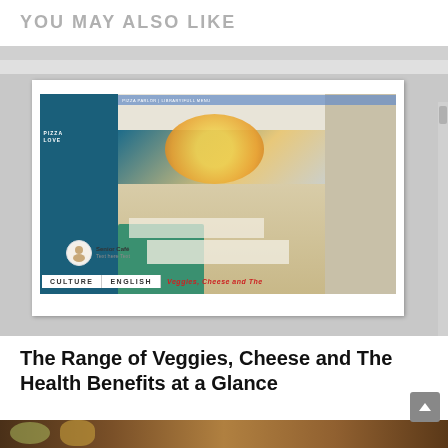YOU MAY ALSO LIKE
[Figure (screenshot): Screenshot of a desktop application (LibreOffice Writer or similar) showing a restaurant interior design document with teal/blue decor, seating area, and food imagery. Tags visible: CULTURE, ENGLISH, and red italic text partially visible.]
The Range of Veggies, Cheese and The Health Benefits at a Glance
[Figure (photo): Partial photo of food dishes on a wooden table, visible at bottom of page]